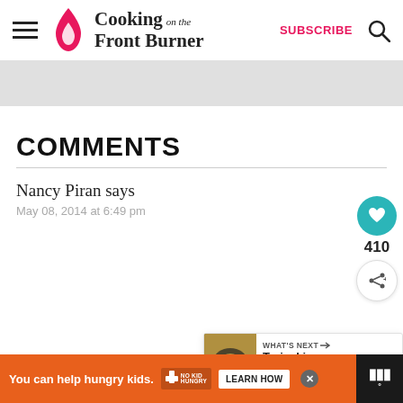Cooking on the Front Burner | SUBSCRIBE
COMMENTS
Nancy Piran says
May 08, 2014 at 6:49 pm
They look delicous Deb! Definitely
WHAT'S NEXT → Teriyaki Burger with...
You can help hungry kids. NO KID HUNGRY LEARN HOW